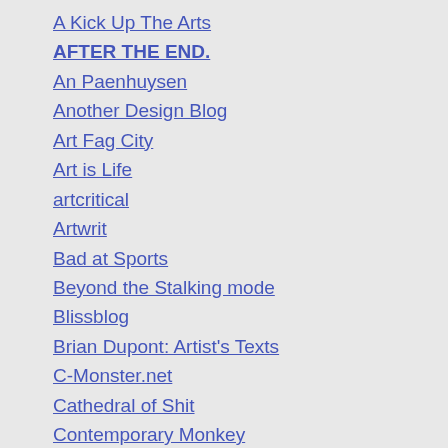A Kick Up The Arts
AFTER THE END.
An Paenhuysen
Another Design Blog
Art Fag City
Art is Life
artcritical
Artwrit
Bad at Sports
Beyond the Stalking mode
Blissblog
Brian Dupont: Artist's Texts
C-Monster.net
Cathedral of Shit
Contemporary Monkey
Corinna Spencer
Dead Hare Radio
Edumacation Blog